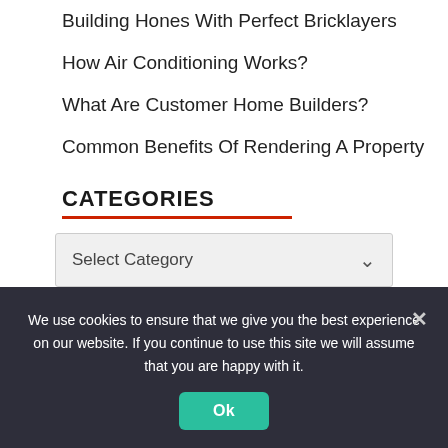Building Hones With Perfect Bricklayers
How Air Conditioning Works?
What Are Customer Home Builders?
Common Benefits Of Rendering A Property
CATEGORIES
Select Category
We use cookies on our website to give you the most relevant experience by remembering your preferences and repeat
We use cookies to ensure that we give you the best experience on our website. If you continue to use this site we will assume that you are happy with it.
Ok